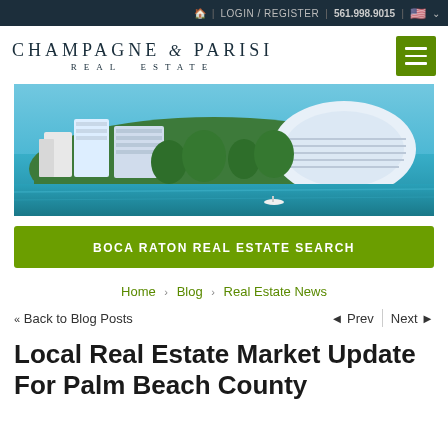🏠 | LOGIN / REGISTER | 561.998.9015 | 🇺🇸
CHAMPAGNE & PARISI REAL ESTATE
[Figure (photo): Aerial view of luxury waterfront buildings and resort complex on a green peninsula surrounded by turquoise water in Boca Raton, Florida]
BOCA RATON REAL ESTATE SEARCH
Home > Blog > Real Estate News
« Back to Blog Posts | ◄ Prev | Next ►
Local Real Estate Market Update For Palm Beach County